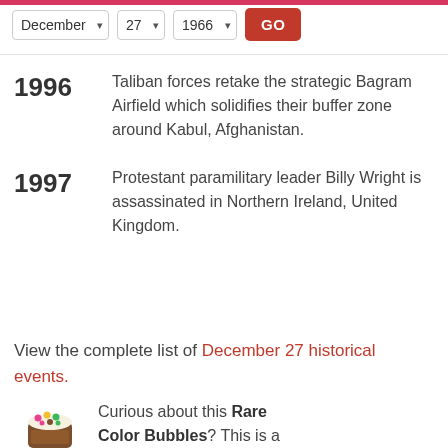December 27 1966 GO
1996 – Taliban forces retake the strategic Bagram Airfield which solidifies their buffer zone around Kabul, Afghanistan.
1997 – Protestant paramilitary leader Billy Wright is assassinated in Northern Ireland, United Kingdom.
View the complete list of December 27 historical events.
[Figure (illustration): Illustration of a jar with colorful dots/bubbles on top — Rare Color Bubbles product image]
Curious about this Rare Color Bubbles? This is a